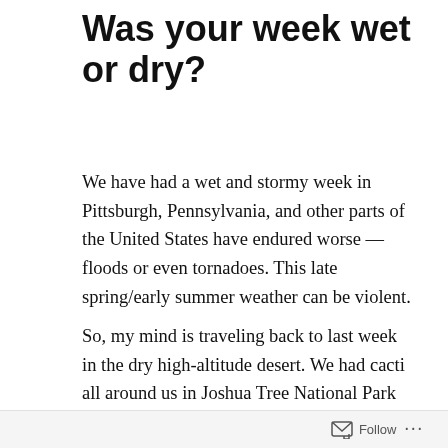Was your week wet or dry?
We have had a wet and stormy week in Pittsburgh, Pennsylvania, and other parts of the United States have endured worse — floods or even tornadoes. This late spring/early summer weather can be violent.
So, my mind is traveling back to last week in the dry high-altitude desert. We had cacti all around us in Joshua Tree National Park in Southern California. The Joshua trees themselves are as numerous as they are unique. This one, uniquely shaped, seemed to point
Follow